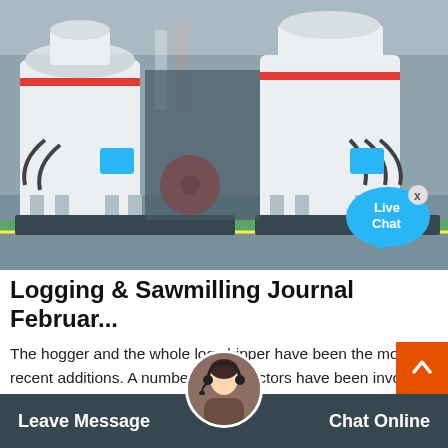[Figure (photo): Industrial cone crusher / milling machines on a factory floor, white heavy machinery with red and blue accents, two large cone crushers visible, with hoses and hydraulic lines, green floor, factory interior background. A 'Live Chat' speech bubble overlay appears in the lower right of the image.]
Logging & Sawmilling Journal Februar...
The hogger and the whole log chipper have been the most recent additions. A number of contractors have been involved with the Ledcor mill project including Iron Mountain Industries, Tebo Mill Installations, Automated Industrial Apptec Consulting and Pa[cific] Systems Ltd.
Leave Message   Chat Online